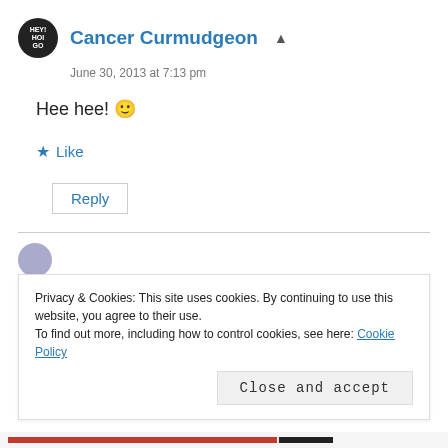Cancer Curmudgeon
June 30, 2013 at 7:13 pm
Hee hee! 🙂
★ Like
Reply
Privacy & Cookies: This site uses cookies. By continuing to use this website, you agree to their use.
To find out more, including how to control cookies, see here: Cookie Policy
Close and accept